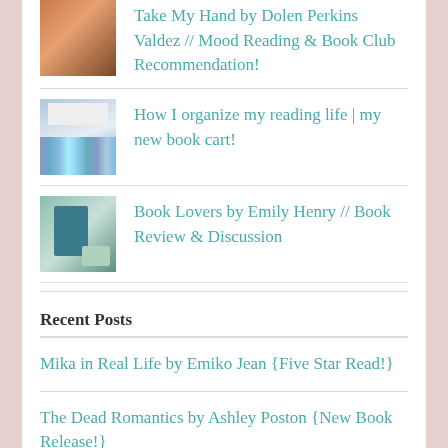Take My Hand by Dolen Perkins Valdez // Mood Reading & Book Club Recommendation!
How I organize my reading life | my new book cart!
Book Lovers by Emily Henry // Book Review & Discussion
Recent Posts
Mika in Real Life by Emiko Jean {Five Star Read!}
The Dead Romantics by Ashley Poston {New Book Release!}